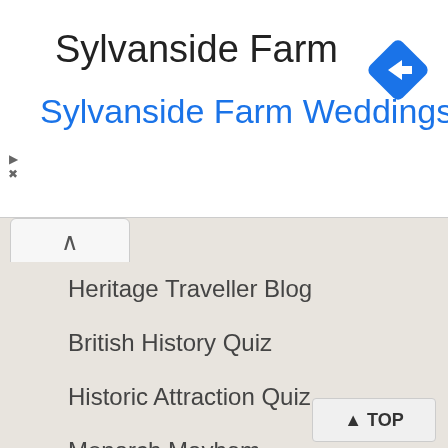Sylvanside Farm
Sylvanside Farm Weddings …
[Figure (illustration): Blue diamond-shaped navigation/directions icon with white arrow pointing right]
Heritage Traveller Blog
British History Quiz
Historic Attraction Quiz
Monarch Mayhem
This Day in British History
Useful stuff
Contact Us
Privacy
About Britain Express
▲ TOP